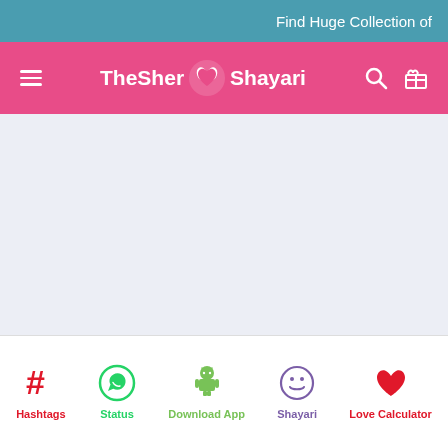Find Huge Collection of
TheSher Shayari
[Figure (screenshot): Main content area, empty/loading state with light blue-grey background]
Hashtags | Status | Download App | Shayari | Love Calculator